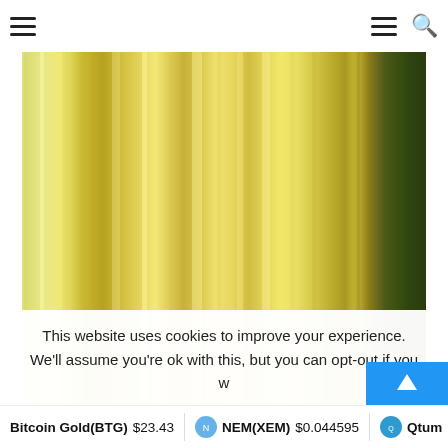Navigation header with hamburger menus and search icon
[Figure (photo): Abstract vertical streaks of gold, yellow, and dark green colors, resembling metallic or liquid streaks blurred together]
This website uses cookies to improve your experience. We'll assume you're ok with this, but you can opt-out if you w
Bitcoin Gold(BTG) $23.43   NEM(XEM) $0.044595   Qtum